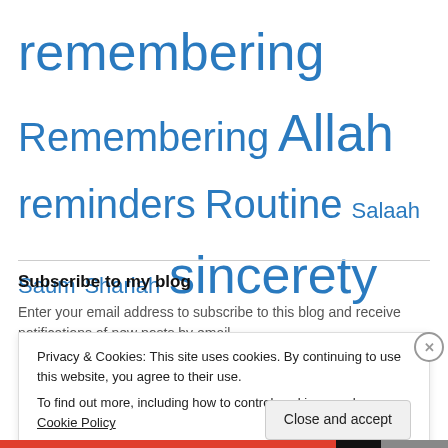remembering Remembering Allah reminders Routine Salaah Saum Shariah sincerety Spirituality Suhoor Sunnah Taraweeh Time Time Management
Subscribe to my blog
Enter your email address to subscribe to this blog and receive notifications of new posts by email.
Privacy & Cookies: This site uses cookies. By continuing to use this website, you agree to their use. To find out more, including how to control cookies, see here: Cookie Policy